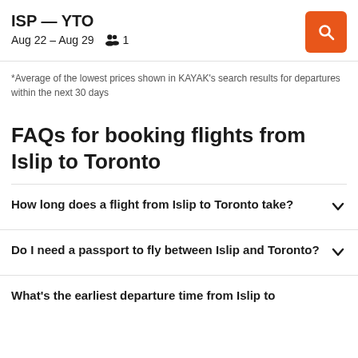ISP — YTO
Aug 22 – Aug 29   1
*Average of the lowest prices shown in KAYAK's search results for departures within the next 30 days
FAQs for booking flights from Islip to Toronto
How long does a flight from Islip to Toronto take?
Do I need a passport to fly between Islip and Toronto?
What's the earliest departure time from Islip to